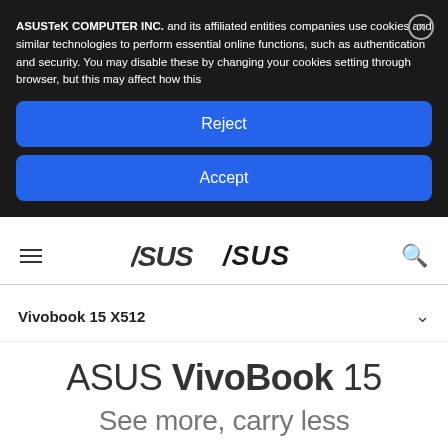ASUSTeK COMPUTER INC. and its affiliated entities companies use cookies and similar technologies to perform essential online functions, such as authentication and security. You may disable these by changing your cookies setting through browser, but this may affect how this
Reject
Accept
[Figure (logo): ASUS logo in stylized italic font, centered in navigation bar]
Vivobook 15 X512
ASUS VivoBook 15
See more, carry less